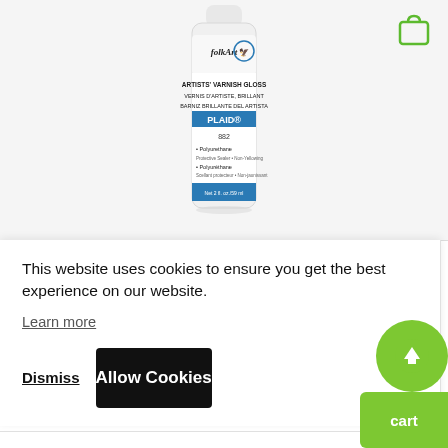[Figure (photo): FolkArt Artists' Varnish Gloss bottle (PLAID brand, 882, Net 2 fl. oz./59 ml), white plastic squeeze bottle with blue label.]
This website uses cookies to ensure you get the best experience on our website.
Learn more
Dismiss
Allow Cookies